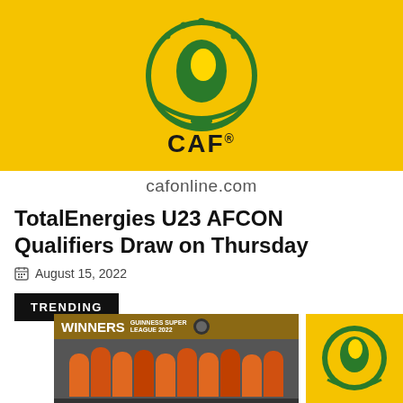[Figure (logo): CAF (Confederation of African Football) logo on yellow background – green and gold Africa map emblem with CAF text below, shown on a yellow/gold background]
cafonline.com
TotalEnergies U23 AFCON Qualifiers Draw on Thursday
August 15, 2022
TRENDING
[Figure (photo): Team photo of players in orange jerseys celebrating under a WINNERS GUINNESS SUPER LEAGUE 2022 banner]
[Figure (logo): CAF logo on yellow background – partial view]